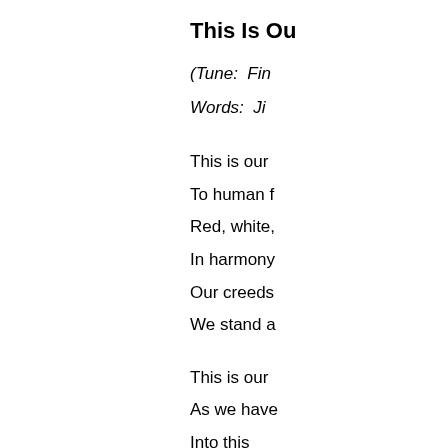This Is Ou
(Tune:  Fin
Words:  Ji
This is our
To human f
Red, white,
In harmony
Our creeds
We stand a
This is our
As we have
Into this